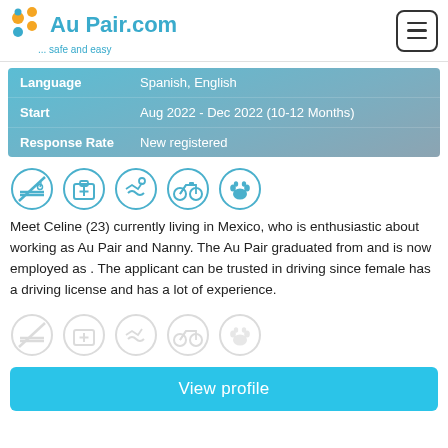AuPair.com ... safe and easy
| Field | Value |
| --- | --- |
| Language | Spanish, English |
| Start | Aug 2022 - Dec 2022 (10-12 Months) |
| Response Rate | New registered |
[Figure (infographic): Five circular icons: no smoking, first aid kit, swimming, bicycle, paw print]
Meet Celine (23) currently living in Mexico, who is enthusiastic about working as Au Pair and Nanny. The Au Pair graduated from and is now employed as . The applicant can be trusted in driving since female has a driving license and has a lot of experience.
[Figure (infographic): Five faded/greyed out circular icons (same set as above but muted)]
View profile